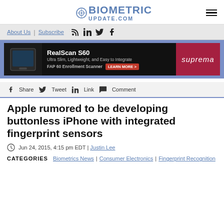BIOMETRIC UPDATE.COM
[Figure (screenshot): Navigation bar with About Us, Subscribe links and social icons (RSS, LinkedIn, Twitter, Facebook)]
[Figure (screenshot): Advertisement banner: RealScan S60 - Ultra Slim, Lightweight, and Easy to Integrate. FAP 60 Enrollment Scanner. LEARN MORE > Suprema brand]
[Figure (screenshot): Social sharing bar with Facebook Share, Twitter Tweet, LinkedIn Link, Comment icons]
Apple rumored to be developing buttonless iPhone with integrated fingerprint sensors
Jun 24, 2015, 4:15 pm EDT | Justin Lee
CATEGORIES   Biometrics News | Consumer Electronics | Fingerprint Recognition